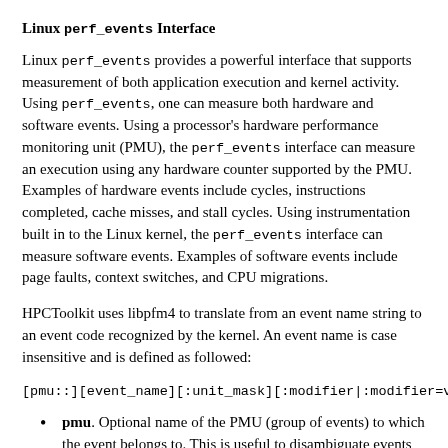Linux perf_events Interface
Linux perf_events provides a powerful interface that supports measurement of both application execution and kernel activity. Using perf_events, one can measure both hardware and software events. Using a processor's hardware performance monitoring unit (PMU), the perf_events interface can measure an execution using any hardware counter supported by the PMU. Examples of hardware events include cycles, instructions completed, cache misses, and stall cycles. Using instrumentation built in to the Linux kernel, the perf_events interface can measure software events. Examples of software events include page faults, context switches, and CPU migrations.
HPCToolkit uses libpfm4 to translate from an event name string to an event code recognized by the kernel. An event name is case insensitive and is defined as followed:
pmu. Optional name of the PMU (group of events) to which the event belongs to. This is useful to disambiguate events in case events from difference sources have the same name. If no pmu is specified, the first match event is used.
event_name. The name of the event. It must be the complete